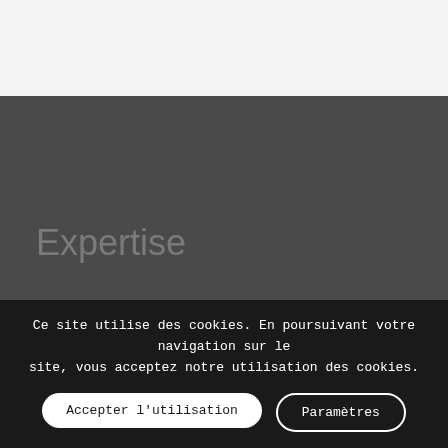[Figure (screenshot): Top light gray section of a website]
Expertise
Ce site utilise des cookies. En poursuivant votre navigation sur le site, vous acceptez notre utilisation des cookies.
Accepter l'utilisation
Paramètres
Ph...